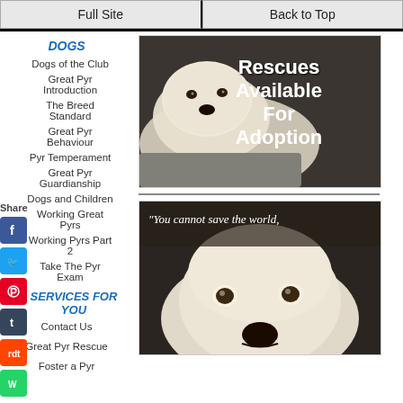Full Site | Back to Top
DOGS
Dogs of the Club
Great Pyr Introduction
The Breed Standard
Great Pyr Behaviour
Pyr Temperament
Great Pyr Guardianship
Dogs and Children
Working Great Pyrs
Working Pyrs Part 2
Take The Pyr Exam
SERVICES FOR YOU
Contact Us
Great Pyr Rescue
Foster a Pyr
[Figure (photo): White Great Pyrenees dog lying on gray blanket with text overlay 'Rescues Available For Adoption']
[Figure (photo): Close-up of white Great Pyrenees dog face with quote text 'You cannot save the world,']